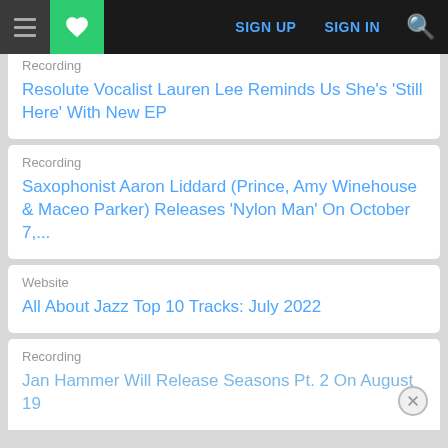SIGN UP  SIGN IN
Recording
Resolute Vocalist Lauren Lee Reminds Us She's 'Still Here' With New EP
Recording
Saxophonist Aaron Liddard (Prince, Amy Winehouse & Maceo Parker) Releases 'Nylon Man' On October 7,...
Website
All About Jazz Top 10 Tracks: July 2022
Recording
Jan Hammer Will Release Seasons Pt. 2 On August 19